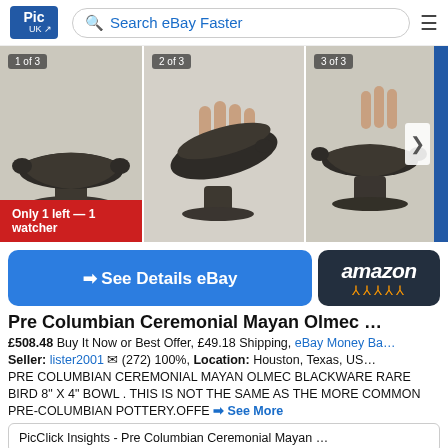Pic UK | Search eBay Faster
[Figure (photo): Three photos of a Pre-Columbian Ceremonial Mayan Olmec blackware rare bird bowl, shown from different angles. Labels: 1 of 3, 2 of 3, 3 of 3. Red banner: Only 1 left — 1 watcher]
➜ See Details eBay
amazon
Pre Columbian Ceremonial Mayan Olmec …
£508.48 Buy It Now or Best Offer, £49.18 Shipping, eBay Money Ba…
Seller: lister2001 ✉ (272) 100%, Location: Houston, Texas, US…
PRE COLUMBIAN CEREMONIAL MAYAN OLMEC BLACKWARE RARE BIRD 8" X 4" BOWL . THIS IS NOT THE SAME AS THE MORE COMMON PRE-COLUMBIAN POTTERY.OFFE ➜ See More
PicClick Insights - Pre Columbian Ceremonial Mayan …